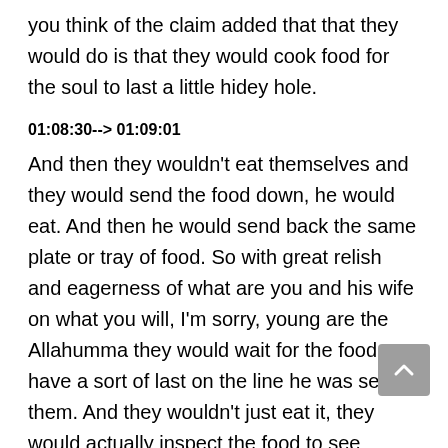you think of the claim added that that they would do is that they would cook food for the soul to last a little hidey hole.
01:08:30--> 01:09:01
And then they wouldn't eat themselves and they would send the food down, he would eat. And then he would send back the same plate or tray of food. So with great relish and eagerness of what are you and his wife on what you will, I'm sorry, young are the Allahumma they would wait for the food have a sort of last on the line he was selling them. And they wouldn't just eat it, they would actually inspect the food to see whether there were traces of his noble fingers. And then they would eat specifically from that one area
01:09:02--> 01:09:36
where they could detect the noble traces of the noble fingers of